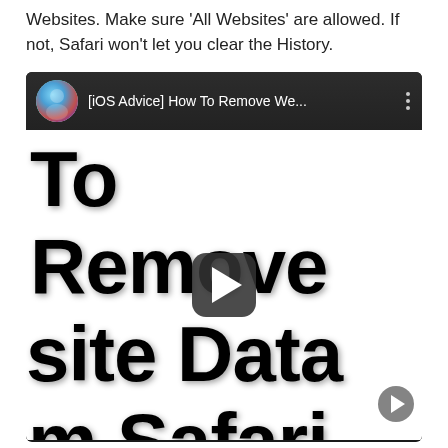Websites. Make sure 'All Websites' are allowed. If not, Safari won't let you clear the History.
[Figure (screenshot): YouTube video thumbnail/preview showing '[iOS Advice] How To Remove We...' with a play button overlay. The video title text visible is 'To Remove', 'site Data', 'm Safari' in large bold black font on white background. A next arrow appears bottom right.]